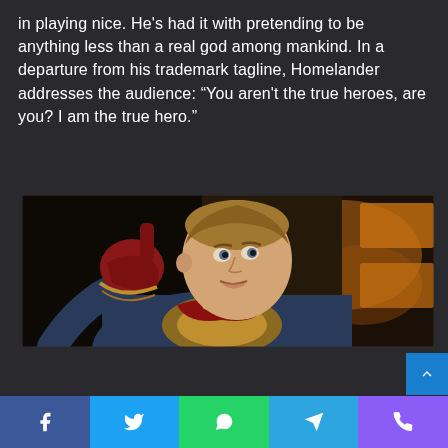in playing nice. He's had it with pretending to be anything less than a real god among mankind. In a departure from his trademark tagline, Homelander addresses the audience: “You aren't the true heroes, are you? I am the true hero.”
[Figure (photo): Photo of a man in a superhero costume with a red glove pointing upward, appearing to give a speech. He is wearing a blue and gold costume. Blurred orange signage visible in the background.]